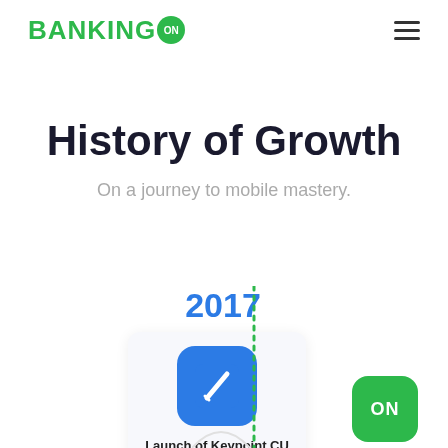BANKING ON
History of Growth
On a journey to mobile mastery.
[Figure (infographic): Timeline showing 2017 with a card containing a blue app icon and the label 'Launch of Keypoint CU', a vertical dotted green line, and a green ON icon in the bottom right]
Launch of Keypoint CU